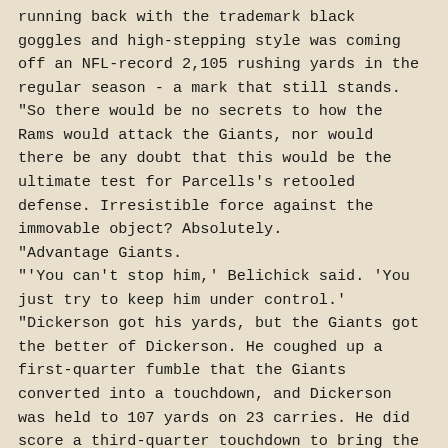running back with the trademark black goggles and high-stepping style was coming off an NFL-record 2,105 rushing yards in the regular season - a mark that still stands. "So there would be no secrets to how the Rams would attack the Giants, nor would there be any doubt that this would be the ultimate test for Parcells's retooled defense. Irresistible force against the immovable object? Absolutely. "Advantage Giants. "'You can't stop him,' Belichick said. 'You just try to keep him under control.' "Dickerson got his yards, but the Giants got the better of Dickerson. He coughed up a first-quarter fumble that the Giants converted into a touchdown, and Dickerson was held to 107 yards on 23 carries. He did score a third-quarter touchdown to bring the Rams to within a field goal, 13-10, but the Giants wound up winning 16-13 after keeping